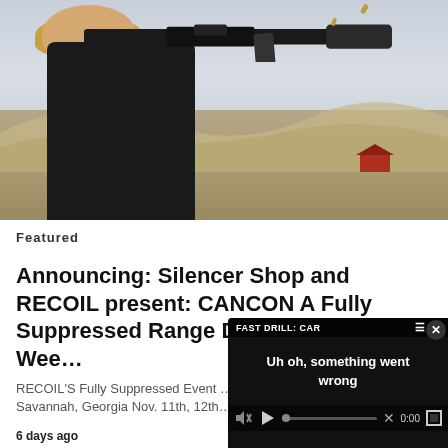[Figure (photo): Woman with blonde curly hair wearing black shirt and gloves, aiming a suppressed AR-style rifle at a shooting range with desert hills and a red barn in background. Shell casings visible ejecting from the rifle.]
Featured
Announcing: Silencer Shop and RECOIL present: CANCON A Fully Suppressed Range Day! Veterans Day Weekend
RECOIL'S Fully Suppressed Event … Savannah, Georgia Nov. 11th, 12th…
6 days ago
[Figure (screenshot): Video player overlay showing 'FAST DRILL: CAR' title in top bar with menu and pencil icons, close (x) button, muted speaker icon, text 'Uh oh, something went wrong' in center, and playback controls with play button, progress bar with X mark, 0:00 timestamp, and fullscreen button on dark background.]